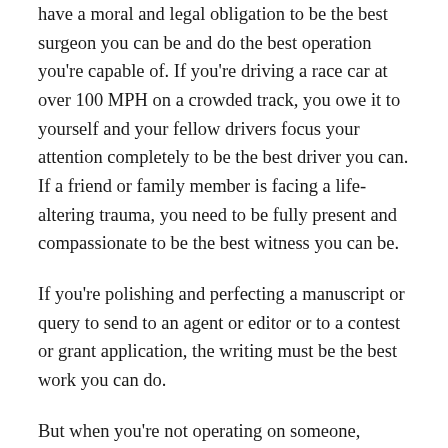if you're opening someone's body up with a scalpel, you have a moral and legal obligation to be the best surgeon you can be and do the best operation you're capable of. If you're driving a race car at over 100 MPH on a crowded track, you owe it to yourself and your fellow drivers focus your attention completely to be the best driver you can. If a friend or family member is facing a life-altering trauma, you need to be fully present and compassionate to be the best witness you can be.
If you're polishing and perfecting a manuscript or query to send to an agent or editor or to a contest or grant application, the writing must be the best work you can do.
But when you're not operating on someone, racing the Indy 500, helping a loved one through a crisis or putting the finishing touches on a manuscript, you don't need to be your best. Good enough is good enough. Good enough